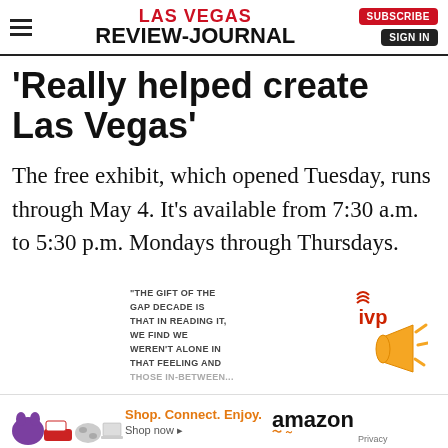LAS VEGAS REVIEW-JOURNAL
'Really helped create Las Vegas'
The free exhibit, which opened Tuesday, runs through May 4. It's available from 7:30 a.m. to 5:30 p.m. Mondays through Thursdays.
[Figure (illustration): Advertisement block with IVP logo and megaphone graphic, text reading: 'THE GIFT OF THE GAP DECADE IS THAT IN READING IT, WE FIND WE WEREN'T ALONE IN THAT FEELING AND THOSE IN-BETWEEN...']
[Figure (illustration): Amazon advertisement banner: Shop. Connect. Enjoy. Shop now. amazon logo with smile, Privacy link. Product images of purple cat toy, sneakers, Xbox controller, laptop.]